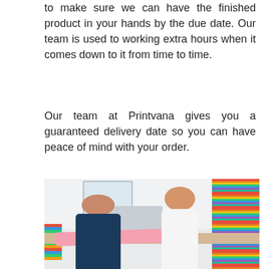to make sure we can have the finished product in your hands by the due date. Our team is used to working extra hours when it comes down to it from time to time.
Our team at Printvana gives you a guaranteed delivery date so you can have peace of mind with your order.
[Figure (photo): Photo of a print/embroidery workshop showing a woman in a white polo shirt with glasses smiling in the foreground, and a man in a navy shirt working at a table in the background. The right wall has large racks of colorful thread spools. There is embroidery machinery on the table and pink fabric being worked on.]